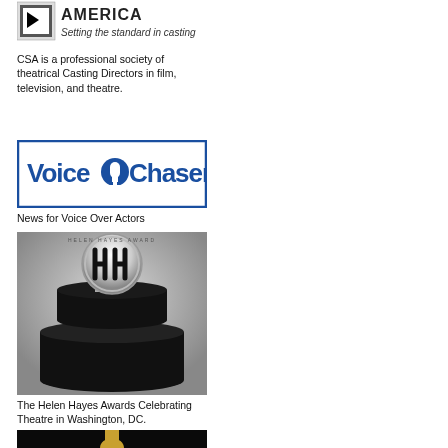[Figure (logo): Casting Society of America logo with text 'AMERICA' and tagline 'Setting the standard in casting']
CSA is a professional society of theatrical Casting Directors in film, television, and theatre.
[Figure (logo): Voice Chasers logo with microphone graphic in blue]
News for Voice Over Actors
[Figure (photo): Black and white photo of the Helen Hayes Award trophy - a silver medal/disc with stylized 'HH' on a black cylindrical base]
The Helen Hayes Awards Celebrating Theatre in Washington, DC.
[Figure (photo): Photo of an Oscar statuette (gold figure) on a black background]